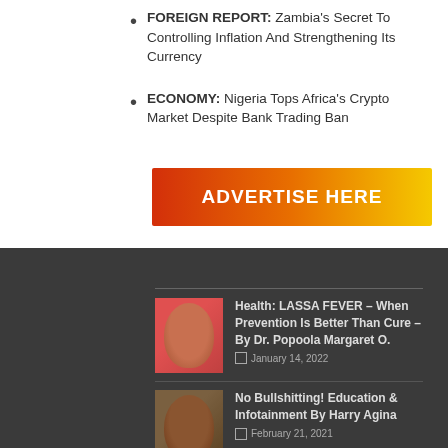FOREIGN REPORT: Zambia's Secret To Controlling Inflation And Strengthening Its Currency
ECONOMY: Nigeria Tops Africa's Crypto Market Despite Bank Trading Ban
[Figure (infographic): Orange-red gradient advertisement banner reading ADVERTISE HERE in bold white text]
Health: LASSA FEVER – When Prevention Is Better Than Cure – By Dr. Popoola Margaret O.
January 14, 2022
No Bullshitting! Education & Infotainment By Harry Agina
February 21, 2021